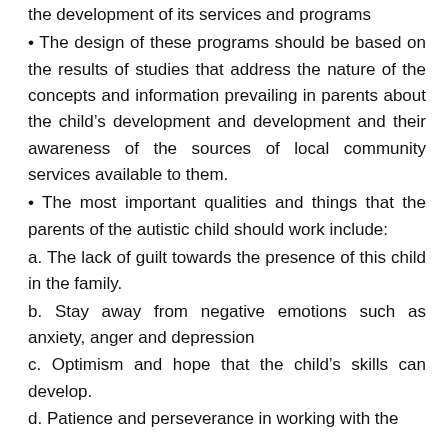the development of its services and programs
• The design of these programs should be based on the results of studies that address the nature of the concepts and information prevailing in parents about the child's development and development and their awareness of the sources of local community services available to them.
• The most important qualities and things that the parents of the autistic child should work include:
a. The lack of guilt towards the presence of this child in the family.
b. Stay away from negative emotions such as anxiety, anger and depression
c. Optimism and hope that the child's skills can develop.
d. Patience and perseverance in working with the